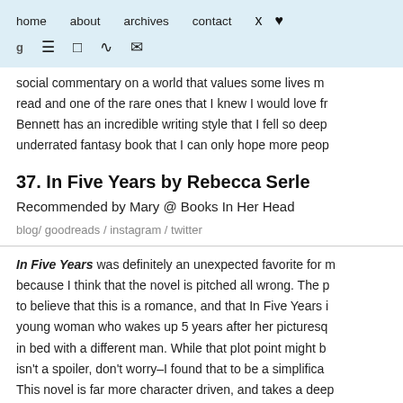home   about   archives   contact   [twitter icon]   [heart icon]
[g icon]   [pinterest icon]   [instagram icon]   [rss icon]   [email icon]
social commentary on a world that values some lives m... read and one of the rare ones that I knew I would love fr... Bennett has an incredible writing style that I fell so deep... underrated fantasy book that I can only hope more peop...
37. In Five Years by Rebecca Serle
Recommended by Mary @ Books In Her Head
blog / goodreads / instagram / twitter
In Five Years was definitely an unexpected favorite for m... because I think that the novel is pitched all wrong. The p... to believe that this is a romance, and that In Five Years i... young woman who wakes up 5 years after her picturesq... in bed with a different man. While that plot point might b... isn't a spoiler, don't worry–I found that to be a simplifica... This novel is far more character driven, and takes a deep...